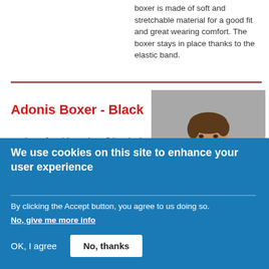boxer is made of soft and stretchable material for a good fit and great wearing comfort. The boxer stays in place thanks to the elastic band.
Adonis Boxer - Black
Feel comfortable and confident in the Adonis boxer from Doreanse. This men's boxer shorts has many uses. Wear it under your
[Figure (photo): Photo of a shirtless male model with short hair against a grey background, modeling boxer shorts]
We use cookies on this site to enhance your user experience
By clicking the Accept button, you agree to us doing so.
No, give me more info
OK, I agree
No, thanks